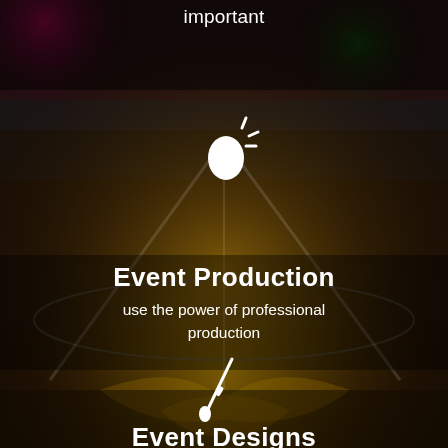[Figure (photo): Night event photo with outdoor tent, truss lighting rigs, round stage, draped fabric, guests seated at tables with colorful floor lighting; used as full-page background]
important
[Figure (illustration): White icon of a clapping/sparkling hand or magic wand with sparkles]
Event Production
use the power of professional production
[Figure (illustration): White paintbrush/pencil icon]
Event Designs
make your brand stand out
[Figure (illustration): White bucket/pot icon at bottom]